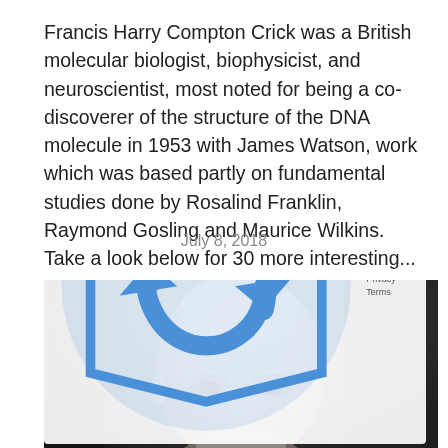Francis Harry Compton Crick was a British molecular biologist, biophysicist, and neuroscientist, most noted for being a co-discoverer of the structure of the DNA molecule in 1953 with James Watson, work which was based partly on fundamental studies done by Rosalind Franklin, Raymond Gosling and Maurice Wilkins. Take a look below for 30 more interesting...
July 8, 2018
[Figure (photo): Black and white close-up photograph of an elderly man wearing round wire-rimmed glasses, with a bald head, looking slightly downward. The image is cropped to show mainly the face and top of the head.]